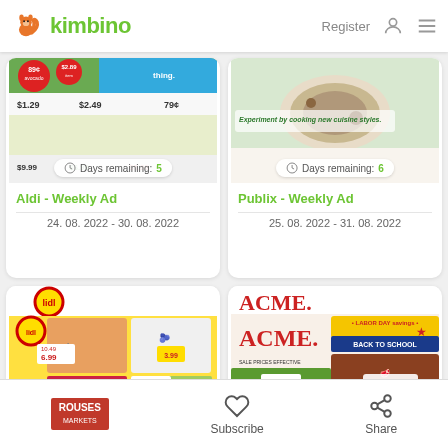kimbino — Register
[Figure (screenshot): Aldi Weekly Ad card showing colorful grocery promotional flyer with prices 89¢, $2.89, $1.29, $2.49, 79¢, $9.99, $6.99, $5.99 and Days remaining: 5 badge]
Aldi - Weekly Ad
24. 08. 2022 - 30. 08. 2022
[Figure (screenshot): Publix Weekly Ad card showing food/cooking promotional image with text 'Experiment by cooking new cuisine styles.' and Days remaining: 6 badge]
Publix - Weekly Ad
25. 08. 2022 - 31. 08. 2022
[Figure (screenshot): Lidl Weekly Ad card showing Lidl logo and grocery flyer with salmon, blueberries, cherries, and price tags including $6.99, 3.99, 2.99, 99¢]
[Figure (screenshot): ACME Weekly Ad card showing ACME logo and Labor Day savings / Back to School promotion with beef at $4.99 and other grocery items]
Rouses Markets — Subscribe — Share